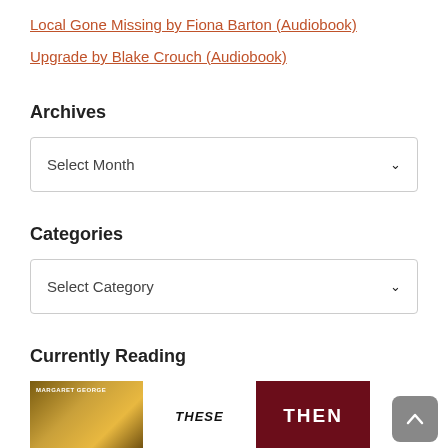Local Gone Missing by Fiona Barton (Audiobook)
Upgrade by Blake Crouch (Audiobook)
Archives
Select Month
Categories
Select Category
Currently Reading
[Figure (photo): Three book covers partially visible: a yellow-toned cover with 'MARGARET GEORGE', a black and white cover showing 'THESE', and a dark red cover showing 'THEN']